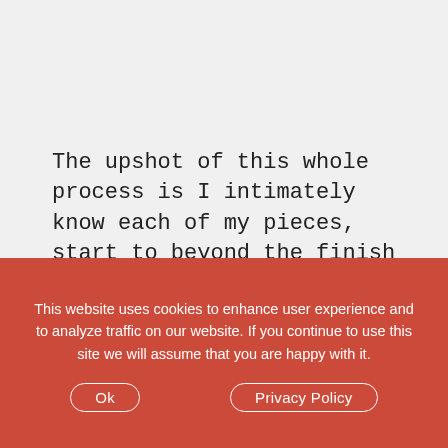The upshot of this whole process is I intimately know each of my pieces, start to beyond the finish firing before they fly away into the hands and hearts of my collectors.
-Liz Crain, who, if she had been told ahead of time about the After the Firing ministrations needed,
This website uses cookies to enhance user experience and to analyze traffic on our website. If you continue to use this site we will assume that you are happy with it.
Ok   Privacy Policy